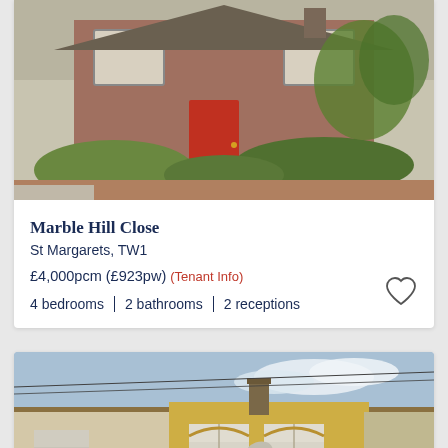[Figure (photo): Exterior photo of a red-brick terraced house with red front door and garden hedge, Marble Hill Close, St Margarets TW1]
Marble Hill Close
St Margarets, TW1
£4,000pcm (£923pw) (Tenant Info)
4 bedrooms  |  2 bathrooms  |  2 receptions
[Figure (photo): Exterior photo of a yellow-brick Victorian terraced house with chimney stacks and sky background]